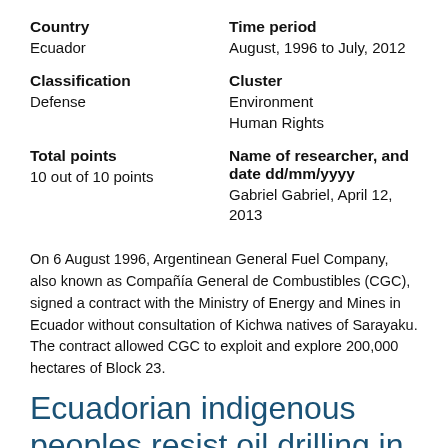| Field | Value |
| --- | --- |
| Country | Ecuador |
| Time period | August, 1996 to July, 2012 |
| Classification | Defense |
| Cluster | Environment
Human Rights |
| Total points | 10 out of 10 points |
| Name of researcher, and date dd/mm/yyyy | Gabriel Gabriel, April 12, 2013 |
On 6 August 1996, Argentinean General Fuel Company, also known as Compañía General de Combustibles (CGC), signed a contract with the Ministry of Energy and Mines in Ecuador without consultation of Kichwa natives of Sarayaku. The contract allowed CGC to exploit and explore 200,000 hectares of Block 23.
Ecuadorian indigenous peoples resist oil drilling in the Amazon